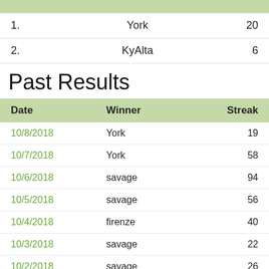|  |  |  |
| --- | --- | --- |
| 1. | York | 20 |
| 2. | KyAlta | 6 |
Past Results
| Date | Winner | Streak |
| --- | --- | --- |
| 10/8/2018 | York | 19 |
| 10/7/2018 | York | 58 |
| 10/6/2018 | savage | 94 |
| 10/5/2018 | savage | 56 |
| 10/4/2018 | firenze | 40 |
| 10/3/2018 | savage | 22 |
| 10/2/2018 | savage | 26 |
| 10/1/2018 | savage | 27 |